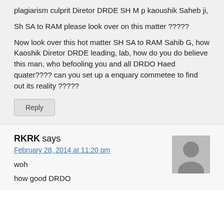plagiarism culprit Diretor DRDE SH M p kaoushik Saheb ji,
Sh SA to RAM please look over on this matter ?????
Now look over this hot matter SH SA to RAM Sahib G, how Kaoshik Diretor DRDE leading, lab, how do you do believe this man, who befooling you and all DRDO Haed quater???? can you set up a enquary commetee to find out its reality ?????
Reply
RKRK says
February 28, 2014 at 11:20 pm
woh
how good DRDO